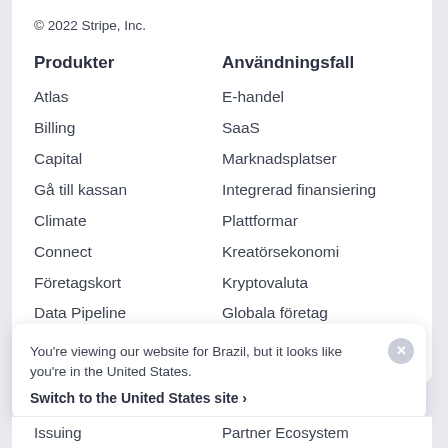© 2022 Stripe, Inc.
Produkter
Atlas
Billing
Capital
Gå till kassan
Climate
Connect
Företagskort
Data Pipeline
Elements
Användningsfall
E-handel
SaaS
Marknadsplatser
Integrerad finansiering
Plattformar
Kreatörsekonomi
Kryptovaluta
Globala företag
You're viewing our website for Brazil, but it looks like you're in the United States.
Switch to the United States site ›
Issuing
Partner Ecosystem